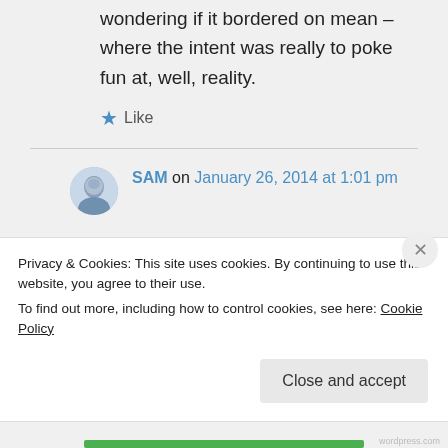wondering if it bordered on mean – where the intent was really to poke fun at, well, reality.
Like
SAM on January 26, 2014 at 1:01 pm
Nah, bordering on mean when talking about your own husband is
Privacy & Cookies: This site uses cookies. By continuing to use this website, you agree to their use.
To find out more, including how to control cookies, see here: Cookie Policy
Close and accept